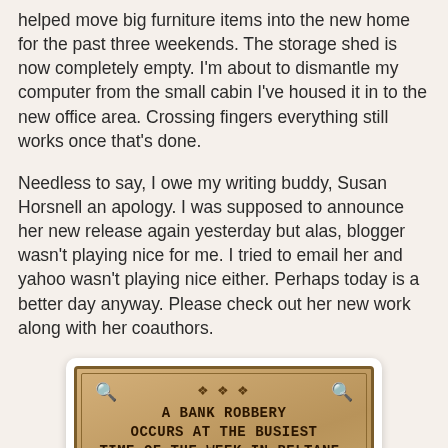helped move big furniture items into the new home for the past three weekends. The storage shed is now completely empty. I'm about to dismantle my computer from the small cabin I've housed it in to the new office area. Crossing fingers everything still works once that's done.
Needless to say, I owe my writing buddy, Susan Horsnell an apology. I was supposed to announce her new release again yesterday but alas, blogger wasn't playing nice for me. I tried to email her and yahoo wasn't playing nice either. Perhaps today is a better day anyway. Please check out her new work along with her coauthors.
[Figure (illustration): A book cover image styled as an aged parchment western poster with decorative border and ornaments. Text reads: 'A BANK ROBBERY OCCURS AT THE BUSIEST TIME OF THE WEEK IN BELTANE. HOW WILL THE PEOPLE CAUGHT IN THE BANK DEAL WITH THE FUTURE? ONE BEGINNING, 5 ENDINGS. WHICH CHARACTERS PATH']